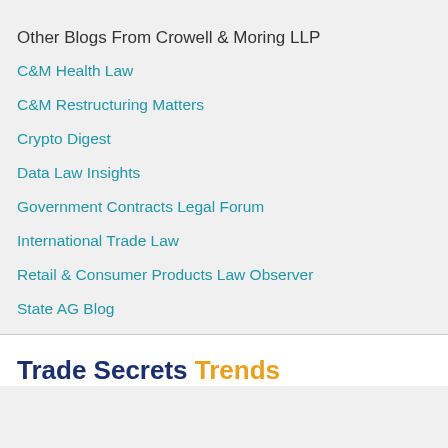Other Blogs From Crowell & Moring LLP
C&M Health Law
C&M Restructuring Matters
Crypto Digest
Data Law Insights
Government Contracts Legal Forum
International Trade Law
Retail & Consumer Products Law Observer
State AG Blog
Trade Secrets Trends